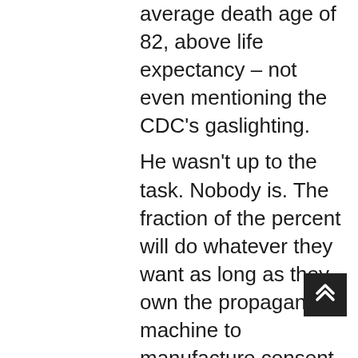average death age of 82, above life expectancy – not even mentioning the CDC's gaslighting.
He wasn't up to the task. Nobody is. The fraction of the percent will do whatever they want as long as they own the propaganda machine to manufacture consent.
On the other hand, this is only valid in the trilateral empire (US/UK plus EU and Austrasian stooges: Japan, South Korea and Australia), i.e. about one billion people, half of whom don't care, don't vote and consider politics like one of the weather elements: there's nothing you can do against tornados, hailstorms, snowstorms and the wind of history kind of thing.